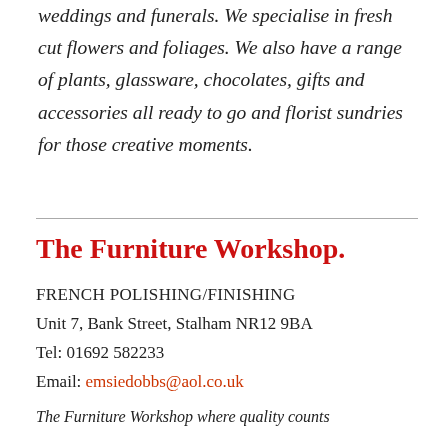weddings and funerals. We specialise in fresh cut flowers and foliages. We also have a range of plants, glassware, chocolates, gifts and accessories all ready to go and florist sundries for those creative moments.
The Furniture Workshop.
FRENCH POLISHING/FINISHING
Unit 7, Bank Street, Stalham NR12 9BA
Tel: 01692 582233
Email: emsiedobbs@aol.co.uk
The Furniture Workshop where quality counts